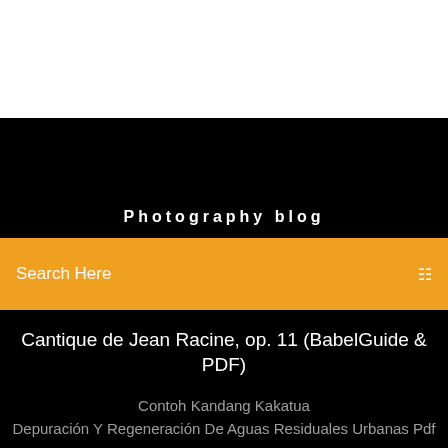[Figure (screenshot): White top area of a mobile browser/app screenshot]
Photography blog
Search Here
Cantique de Jean Racine, op. 11 (BabelGuide & PDF)
[Figure (illustration): Three circles in shades of blue (dark blue, medium blue, light blue) each containing a small white square/bookmark icon]
Contoh Kandang Kakatua
Depuración Y Regeneración De Aguas Residuales Urbanas Pdf